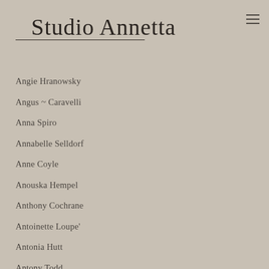Studio Annetta
Angie Hranowsky
Angus ~ Caravelli
Anna Spiro
Annabelle Selldorf
Anne Coyle
Anouska Hempel
Anthony Cochrane
Antoinette Loupe'
Antonia Hutt
Antony Todd
Arent ~ Pyke
Argent Design
Arthur Casas
Ashely Whittaker
Austin Harrelson